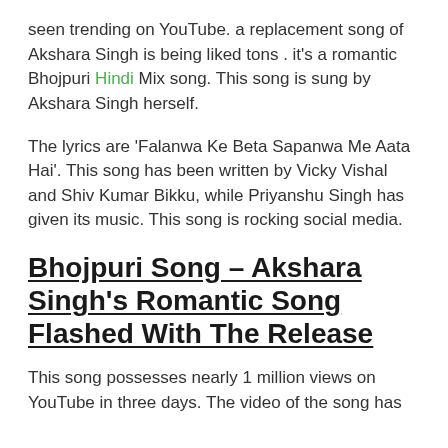seen trending on YouTube. a replacement song of Akshara Singh is being liked tons . it's a romantic Bhojpuri Hindi Mix song. This song is sung by Akshara Singh herself.
The lyrics are 'Falanwa Ke Beta Sapanwa Me Aata Hai'. This song has been written by Vicky Vishal and Shiv Kumar Bikku, while Priyanshu Singh has given its music. This song is rocking social media.
Bhojpuri Song – Akshara Singh's Romantic Song Flashed With The Release
This song possesses nearly 1 million views on YouTube in three days. The video of the song has